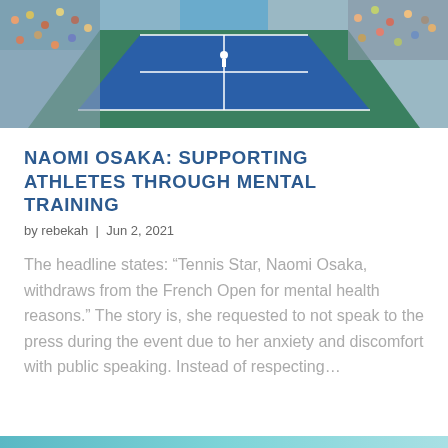[Figure (photo): Aerial view of a tennis stadium court with players and a packed crowd of spectators in the stands]
NAOMI OSAKA: SUPPORTING ATHLETES THROUGH MENTAL TRAINING
by rebekah | Jun 2, 2021
The headline states: “Tennis Star, Naomi Osaka, withdraws from the French Open for mental health reasons.” The story is, she requested to not speak to the press during the event due to her anxiety and discomfort with public speaking. Instead of respecting…